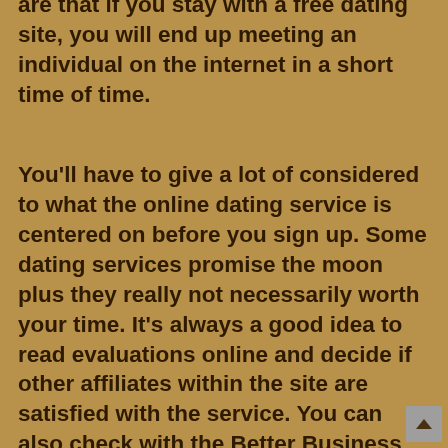are that if you stay with a free dating site, you will end up meeting an individual on the internet in a short time of time.
You'll have to give a lot of considered to what the online dating service is centered on before you sign up. Some dating services promise the moon plus they really not necessarily worth your time. It's always a good idea to read evaluations online and decide if other affiliates within the site are satisfied with the service. You can also check with the Better Business Bureau to verify that there have been any kind of complaints registered against the online dating service.
It may seem just like a lot of job, but knowing someone in the Internet may be one of the best experience that you can have got. It's convenient, fun, and it can really make it easier to meet that special someone.
The downside of using an online dating service is that you have to meet in a people place. Which